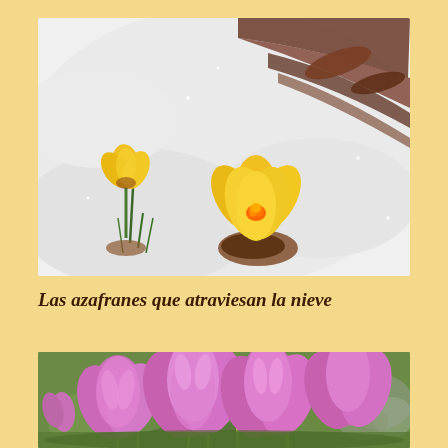[Figure (photo): Two yellow crocus flowers emerging through snow. One smaller crocus at upper left and one larger open crocus in center-right, both bright yellow with orange stamens, surrounded by white snow and dark leaf litter.]
Las azafranes que atraviesan la nieve
[Figure (photo): Cluster of pink/lavender crocus flowers in full bloom, filling the frame. Multiple large open flowers with pale purple-pink petals on yellow-green stems, with silvery-green foliage in background.]